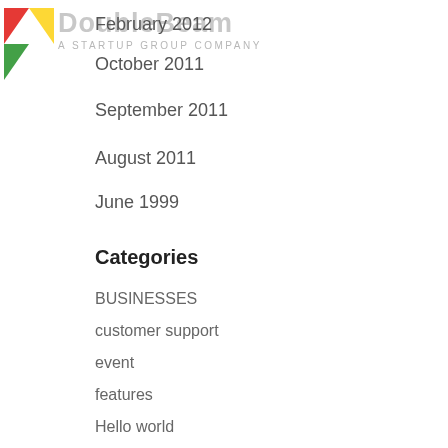DoubleBeam — A STARTUP GROUP COMPANY
February 2012
October 2011
September 2011
August 2011
June 1999
Categories
BUSINESSES
customer support
event
features
Hello world
location
mountain view